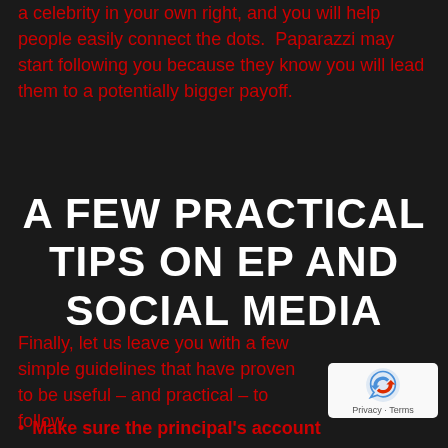a celebrity in your own right, and you will help people easily connect the dots. Paparazzi may start following you because they know you will lead them to a potentially bigger payoff.
A FEW PRACTICAL TIPS ON EP AND SOCIAL MEDIA
Finally, let us leave you with a few simple guidelines that have proven to be useful – and practical – to follow.
Make sure the principal's account